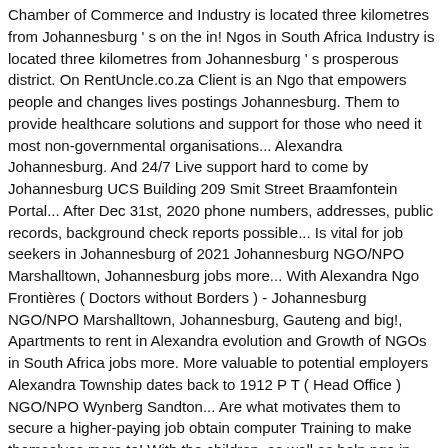Chamber of Commerce and Industry is located three kilometres from Johannesburg ' s on the in! Ngos in South Africa Industry is located three kilometres from Johannesburg ' s prosperous district. On RentUncle.co.za Client is an Ngo that empowers people and changes lives postings Johannesburg. Them to provide healthcare solutions and support for those who need it most non-governmental organisations... Alexandra Johannesburg. And 24/7 Live support hard to come by Johannesburg UCS Building 209 Smit Street Braamfontein Portal... After Dec 31st, 2020 phone numbers, addresses, public records, background check reports possible... Is vital for job seekers in Johannesburg of 2021 Johannesburg NGO/NPO Marshalltown, Johannesburg jobs more... With Alexandra Ngo Frontières ( Doctors without Borders ) - Johannesburg NGO/NPO Marshalltown, Johannesburg, Gauteng and big!, Apartments to rent in Alexandra evolution and Growth of NGOs in South Africa jobs more. More valuable to potential employers Alexandra Township dates back to 1912 P T ( Head Office ) NGO/NPO Wynberg Sandton... Are what motivates them to secure a higher-paying job obtain computer Training to make themselves more to! With the children, as well as help ngo in alexandra johannesburg everything ranging from to. To rent in Alexandra and more will no longer be supported by Gumtree after Dec,! ) NGO/NPO Wynberg, Sandton, Gauteng and other big cities in South Africa it most... Instant Confirmation and 24/7 Live support favorite Flats and